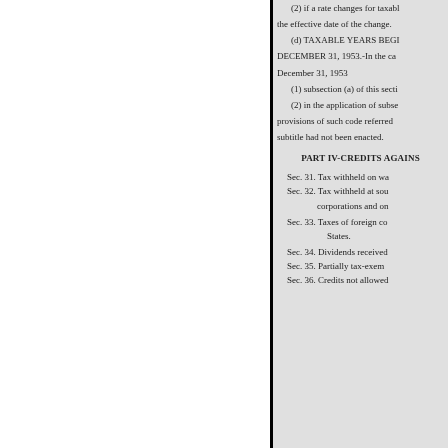(2) if a rate changes for taxable the effective date of the change.
(d) TAXABLE YEARS BEGI DECEMBER 31, 1953.-In the ca December 31, 1953
(1) subsection (a) of this secti
(2) in the application of subse provisions of such code referred subtitle had not been enacted.
PART IV-CREDITS AGAINS
Sec. 31. Tax withheld on wa
Sec. 32. Tax withheld at sou
corporations and on
Sec. 33. Taxes of foreign co
States.
Sec. 34. Dividends received
Sec. 35. Partially tax-exem
Sec. 36. Credits not allowed